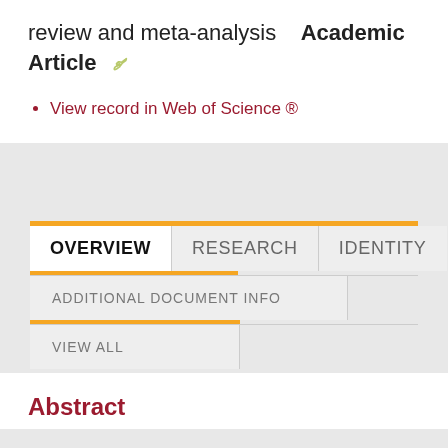review and meta-analysis  Academic Article
View record in Web of Science ®
OVERVIEW
RESEARCH
IDENTITY
ADDITIONAL DOCUMENT INFO
VIEW ALL
Abstract